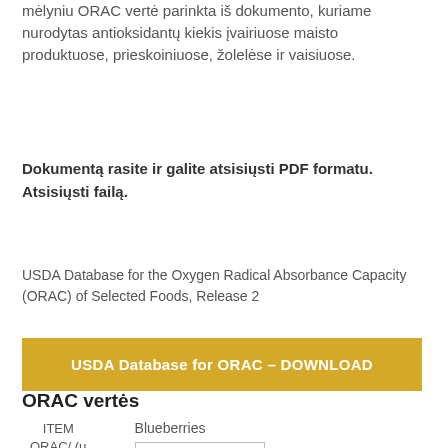mėlyniu ORAC vertė parinkta iš dokumento, kuriame nurodytas antioksidantų kiekis įvairiuose maisto produktuose, prieskoiniuose, žolelėse ir vaisiuose.
Dokumentą rasite ir galite atsisiųsti PDF formatu. Atsisiųsti failą.
USDA Database for the Oxygen Radical Absorbance Capacity (ORAC) of Selected Foods, Release 2
USDA Database for ORAC – DOWNLOAD
ORAC vertės
| ITEM ORAC/ (μ mol TE/100g) | Blueberries |
| --- | --- |